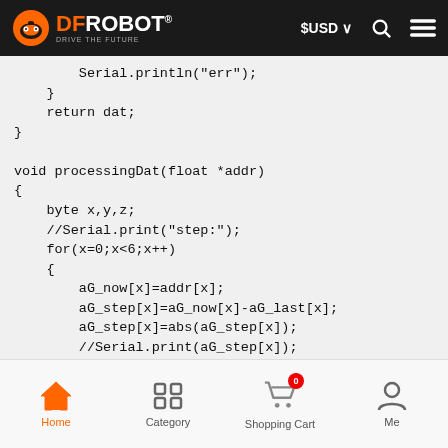DFRobot - DRIVE THE FUTURE | $USD | Search | Menu
Serial.println("err");
    }
    return dat;
}

void processingDat(float *addr)
{
    byte x,y,z;
    //Serial.print("step:");
    for(x=0;x<6;x++)
    {
        aG_now[x]=addr[x];
        aG_step[x]=aG_now[x]-aG_last[x];
        aG_step[x]=abs(aG_step[x]);
        //Serial.print(aG_step[x]);
        //Serial.print("\t");
        aG_last[x]=aG_now[x];
    }
Home | Category | Shopping Cart 0 | Me